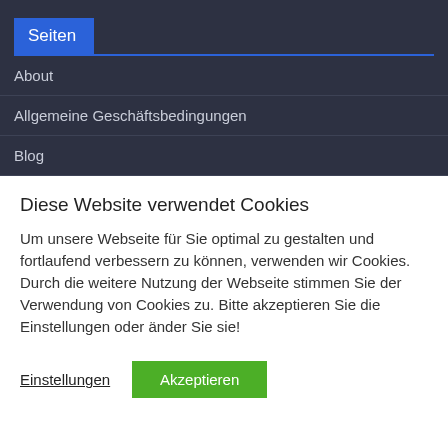Seiten
About
Allgemeine Geschäftsbedingungen
Blog
Diese Website verwendet Cookies
Um unsere Webseite für Sie optimal zu gestalten und fortlaufend verbessern zu können, verwenden wir Cookies. Durch die weitere Nutzung der Webseite stimmen Sie der Verwendung von Cookies zu. Bitte akzeptieren Sie die Einstellungen oder änder Sie sie!
Einstellungen  Akzeptieren